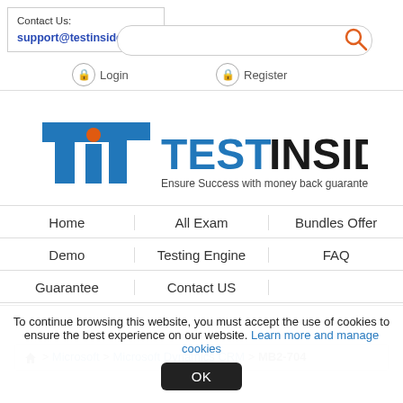Contact Us: support@testinsides.com
[Figure (logo): Test Insides logo with text 'TEST INSIDES' and tagline 'Ensure Success with money back guarantee']
Home
All Exam
Bundles Offer
Demo
Testing Engine
FAQ
Guarantee
Contact US
Home > Microsoft > Microsoft Dynamics CRM > MB2-704
To continue browsing this website, you must accept the use of cookies to ensure the best experience on our website. Learn more and manage cookies